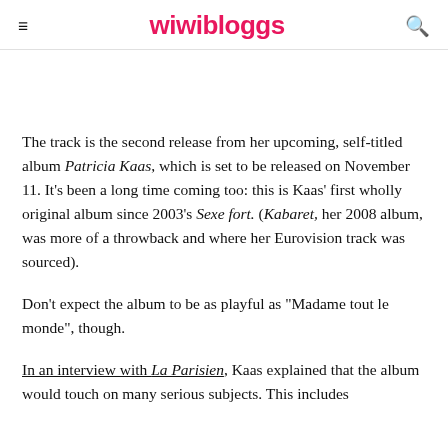wiwibloggs
The track is the second release from her upcoming, self-titled album Patricia Kaas, which is set to be released on November 11. It's been a long time coming too: this is Kaas' first wholly original album since 2003's Sexe fort. (Kabaret, her 2008 album, was more of a throwback and where her Eurovision track was sourced).
Don't expect the album to be as playful as "Madame tout le monde", though.
In an interview with La Parisien, Kaas explained that the album would touch on many serious subjects. This includes